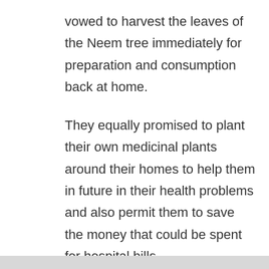vowed to harvest the leaves of the Neem tree immediately for preparation and consumption back at home.
They equally promised to plant their own medicinal plants around their homes to help them in future in their health problems and also permit them to save the money that could be spent for hospital bills.